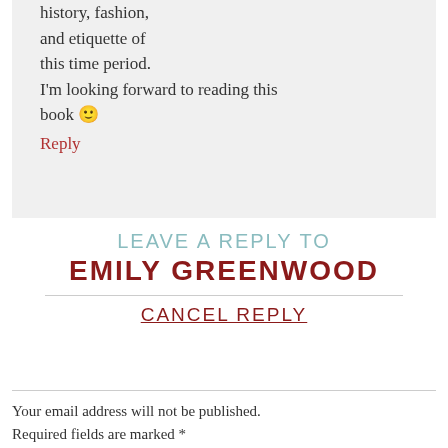For this it is the history, fashion, and etiquette of this time period. I'm looking forward to reading this book 🙂
Reply
LEAVE A REPLY TO EMILY GREENWOOD
CANCEL REPLY
Your email address will not be published. Required fields are marked *